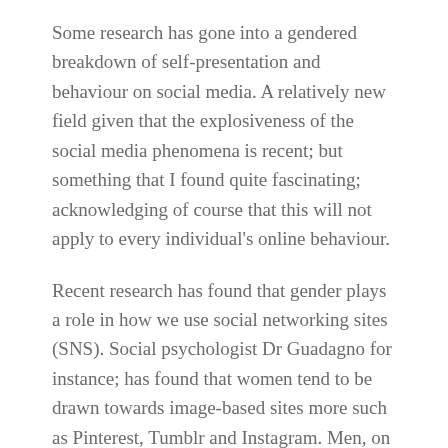Some research has gone into a gendered breakdown of self-presentation and behaviour on social media. A relatively new field given that the explosiveness of the social media phenomena is recent; but something that I found quite fascinating; acknowledging of course that this will not apply to every individual's online behaviour.
Recent research has found that gender plays a role in how we use social networking sites (SNS). Social psychologist Dr Guadagno for instance; has found that women tend to be drawn towards image-based sites more such as Pinterest, Tumblr and Instagram. Men, on the other hand, are more drawn towards text-based sites such as Twitter and Reddit. Researchers have speculated that we are drawn to such sites based on